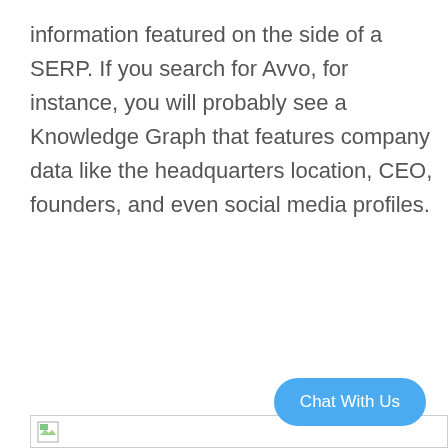information featured on the side of a SERP. If you search for Avvo, for instance, you will probably see a Knowledge Graph that features company data like the headquarters location, CEO, founders, and even social media profiles.
[Figure (other): Broken image placeholder with small image icon and border]
Chat With Us